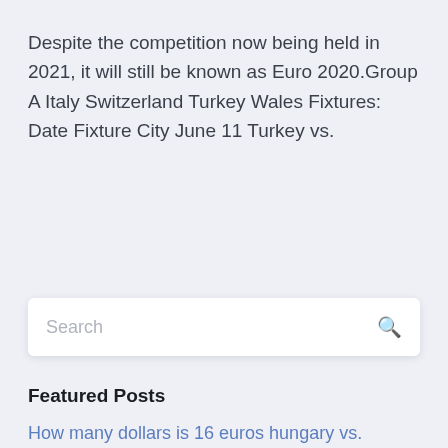Despite the competition now being held in 2021, it will still be known as Euro 2020.Group A Italy Switzerland Turkey Wales Fixtures: Date Fixture City June 11 Turkey vs.
Search
Featured Posts
How many dollars is 16 euros hungary vs. portugal